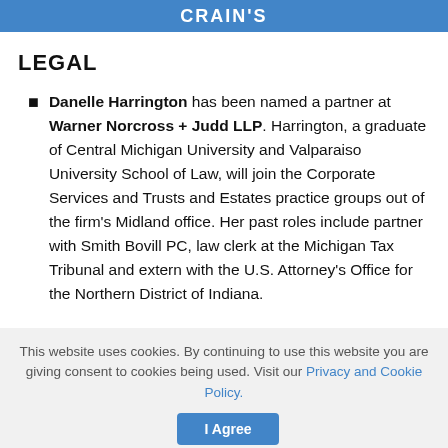CRAIN'S
LEGAL
Danelle Harrington has been named a partner at Warner Norcross + Judd LLP. Harrington, a graduate of Central Michigan University and Valparaiso University School of Law, will join the Corporate Services and Trusts and Estates practice groups out of the firm's Midland office. Her past roles include partner with Smith Bovill PC, law clerk at the Michigan Tax Tribunal and extern with the U.S. Attorney's Office for the Northern District of Indiana.
This website uses cookies. By continuing to use this website you are giving consent to cookies being used. Visit our Privacy and Cookie Policy.